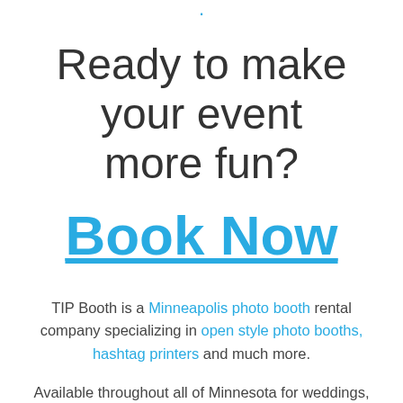Ready to make your event more fun?
Book Now
TIP Booth is a Minneapolis photo booth rental company specializing in open style photo booths, hashtag printers and much more.
Available throughout all of Minnesota for weddings, corporate events and everything in between.